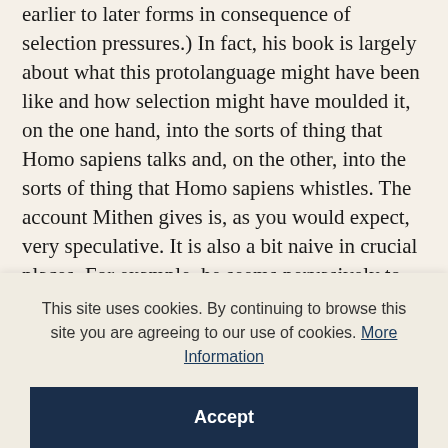earlier to later forms in consequence of selection pressures.) In fact, his book is largely about what this protolanguage might have been like and how selection might have moulded it, on the one hand, into the sorts of thing that Homo sapiens talks and, on the other, into the sorts of thing that Homo sapiens whistles. The account Mithen gives is, as you would expect, very speculative. It is also a bit naive in crucial places. For example, he seems pervasively to confuse the question of how language came to be segmented (specifically, into words) with the question of how it came to be
This site uses cookies. By continuing to browse this site you are agreeing to our use of cookies. More Information
Accept